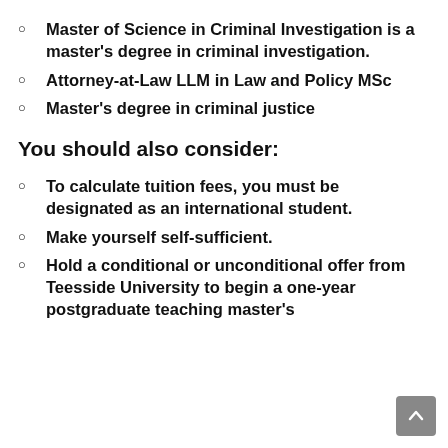Master of Science in Criminal Investigation is a master's degree in criminal investigation.
Attorney-at-Law LLM in Law and Policy MSc
Master's degree in criminal justice
You should also consider:
To calculate tuition fees, you must be designated as an international student.
Make yourself self-sufficient.
Hold a conditional or unconditional offer from Teesside University to begin a one-year postgraduate teaching master's